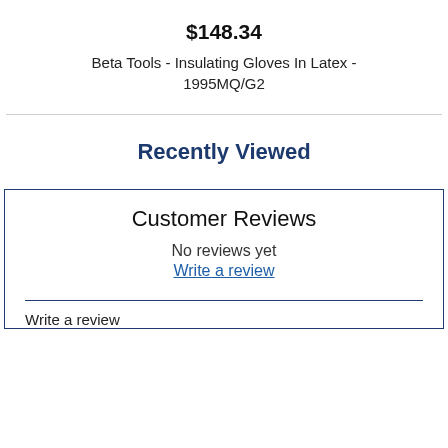$148.34
Beta Tools - Insulating Gloves In Latex - 1995MQ/G2
Recently Viewed
Customer Reviews
No reviews yet
Write a review
Write a review